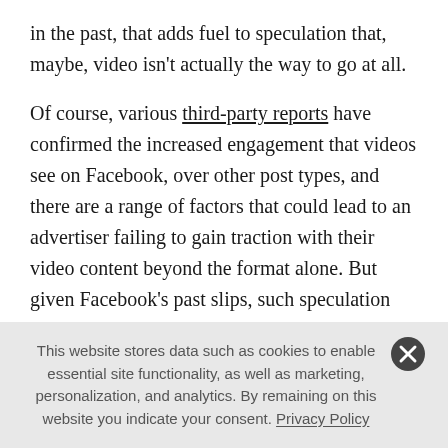in the past, that adds fuel to speculation that, maybe, video isn't actually the way to go at all.

Of course, various third-party reports have confirmed the increased engagement that videos see on Facebook, over other post types, and there are a range of factors that could lead to an advertiser failing to gain traction with their video content beyond the format alone. But given Facebook's past slips, such speculation will linger, though Facebook will be hoping that the longer it can go without another, similar controversy, the more such
This website stores data such as cookies to enable essential site functionality, as well as marketing, personalization, and analytics. By remaining on this website you indicate your consent. Privacy Policy